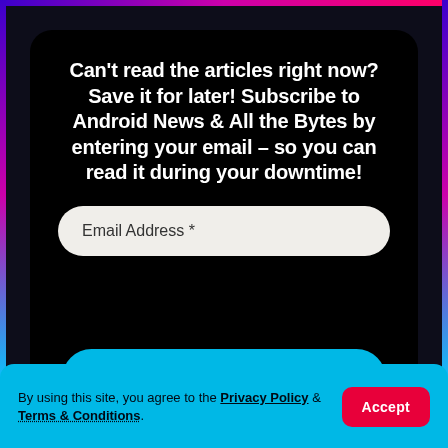Can't read the articles right now? Save it for later! Subscribe to Android News & All the Bytes by entering your email – so you can read it during your downtime!
Email Address *
Sign Up!
By using this site, you agree to the Privacy Policy & Terms & Conditions.
Accept